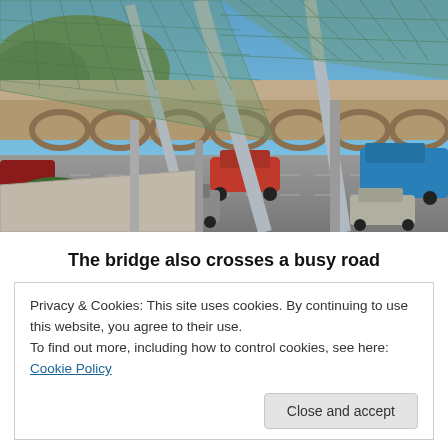[Figure (photo): Aerial/close-up view of a modern pedestrian bridge with steel lattice canopy structure crossing over a busy urban road with cars below, city buildings and a hillside in the background, blue sky above.]
The bridge also crosses a busy road
Privacy & Cookies: This site uses cookies. By continuing to use this website, you agree to their use.
To find out more, including how to control cookies, see here: Cookie Policy
convenient crossing between the newly constructed Rike